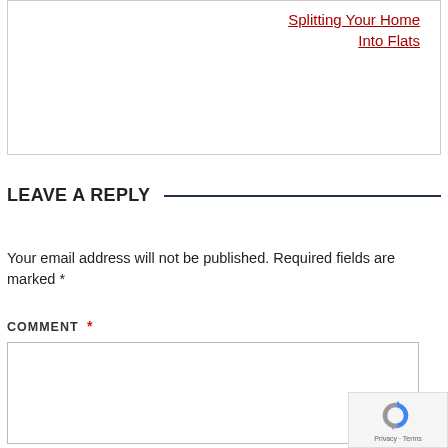Splitting Your Home Into Flats
LEAVE A REPLY
Your email address will not be published. Required fields are marked *
COMMENT *
[Figure (other): Comment text area input box (empty)]
[Figure (other): reCAPTCHA badge with logo and Privacy - Terms text]